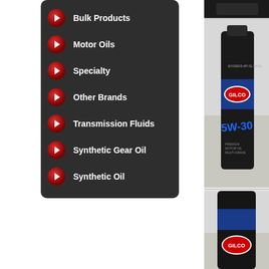Bulk Products
Motor Oils
Specialty
Other Brands
Transmission Fluids
Synthetic Gear Oil
Synthetic Oil
[Figure (photo): Partial view of a dark object at top right]
[Figure (photo): Gilco 5W-30 Premium Motor Oil bottle on light background]
[Figure (photo): Gilco motor oil bottle (bottom portion) on light background]